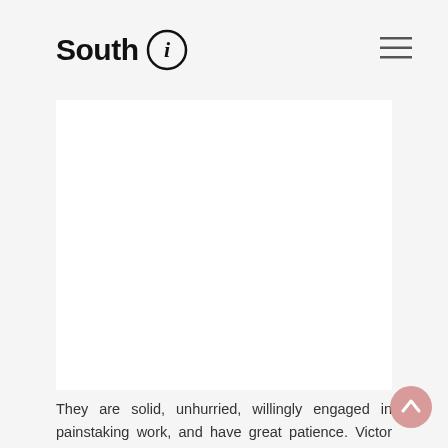South i
[Figure (photo): Large white rectangular image placeholder area on a light gray background]
They are solid, unhurried, willingly engaged in painstaking work, and have great patience. Victor takes care of the